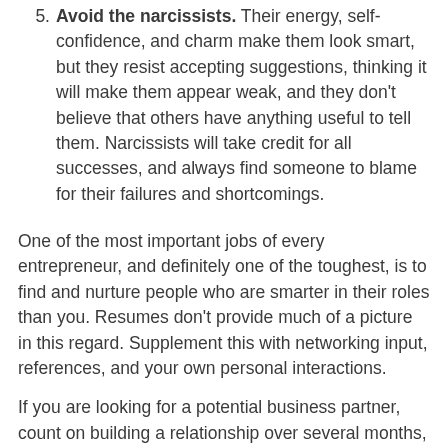5. Avoid the narcissists. Their energy, self-confidence, and charm make them look smart, but they resist accepting suggestions, thinking it will make them appear weak, and they don't believe that others have anything useful to tell them. Narcissists will take credit for all successes, and always find someone to blame for their failures and shortcomings.
One of the most important jobs of every entrepreneur, and definitely one of the toughest, is to find and nurture people who are smarter in their roles than you. Resumes don't provide much of a picture in this regard. Supplement this with networking input, references, and your own personal interactions.
If you are looking for a potential business partner, count on building a relationship over several months, before you really know the person. The business relationship at that level is just as important as a personal relationship before marrying (no overnight affairs). If you are hiring, make sure you have multiple interviews, and input from multiple people on the